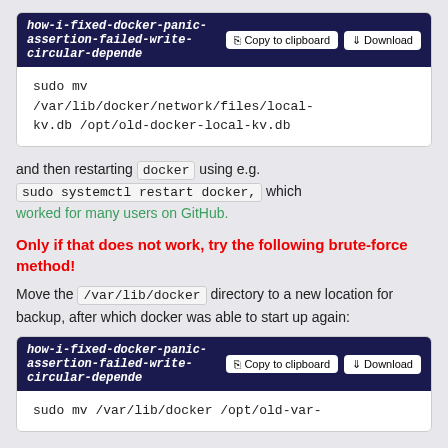[Figure (screenshot): Code block with dark header showing filename 'how-i-fixed-docker-panic-assertion-failed-write-circular-depende' with Copy to clipboard and Download buttons, and code body: 'sudo mv /var/lib/docker/network/files/local-kv.db /opt/old-docker-local-kv.db']
and then restarting docker using e.g. sudo systemctl restart docker, which worked for many users on GitHub.
Only if that does not work, try the following brute-force method!
Move the /var/lib/docker directory to a new location for backup, after which docker was able to start up again:
[Figure (screenshot): Code block with dark header showing filename 'how-i-fixed-docker-panic-assertion-failed-write-circular-depende' with Copy to clipboard and Download buttons, and partial code body: 'sudo mv /var/lib/docker /opt/old-var-']